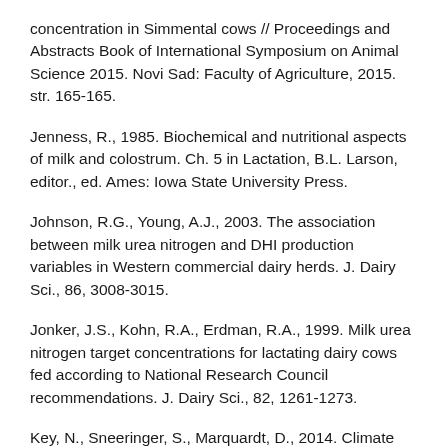concentration in Simmental cows // Proceedings and Abstracts Book of International Symposium on Animal Science 2015. Novi Sad: Faculty of Agriculture, 2015. str. 165-165.
Jenness, R., 1985. Biochemical and nutritional aspects of milk and colostrum. Ch. 5 in Lactation, B.L. Larson, editor., ed. Ames: Iowa State University Press.
Johnson, R.G., Young, A.J., 2003. The association between milk urea nitrogen and DHI production variables in Western commercial dairy herds. J. Dairy Sci., 86, 3008-3015.
Jonker, J.S., Kohn, R.A., Erdman, R.A., 1999. Milk urea nitrogen target concentrations for lactating dairy cows fed according to National Research Council recommendations. J. Dairy Sci., 82, 1261-1273.
Key, N., Sneeringer, S., Marquardt, D., 2014. Climate change,